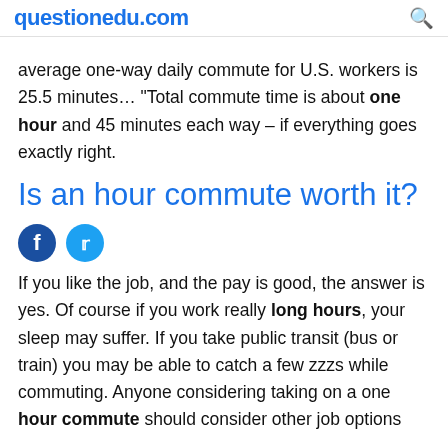questionedu.com
average one-way daily commute for U.S. workers is 25.5 minutes… "Total commute time is about one hour and 45 minutes each way – if everything goes exactly right.
Is an hour commute worth it?
[Figure (other): Facebook and Twitter social share buttons]
If you like the job, and the pay is good, the answer is yes. Of course if you work really long hours, your sleep may suffer. If you take public transit (bus or train) you may be able to catch a few zzzs while commuting. Anyone considering taking on a one hour commute should consider other job options